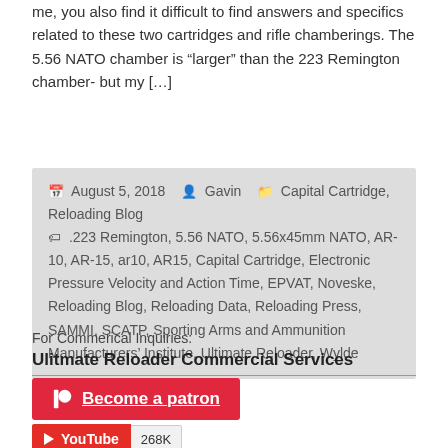me, you also find it difficult to find answers and specifics related to these two cartridges and rifle chamberings. The 5.56 NATO chamber is “larger” than the 223 Remington chamber- but my […]
August 5, 2018  Gavin  Capital Cartridge, Reloading Blog  .223 Remington, 5.56 NATO, 5.56x45mm NATO, AR-10, AR-15, ar10, AR15, Capital Cartridge, Electronic Pressure Velocity and Action Time, EPVAT, Noveske, Reloading Blog, Reloading Data, Reloading Press, SAMMI, SCATP, Sporting Arms and Ammunition Manufacturers’ Institute, Ultimate Reloader, Wylde
For Commerical Inquiries:
Ulitmate Reloader Commercial Services
[Figure (other): Patreon button: red background with Patreon logo and text 'Become a patron']
[Figure (other): YouTube subscribe button showing 268K subscribers]